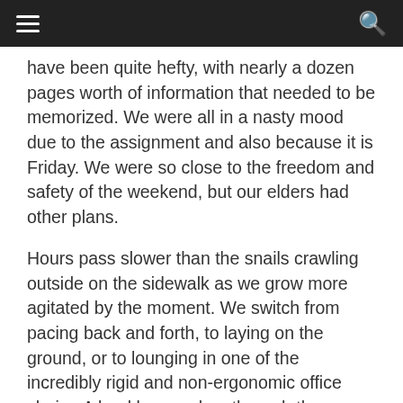☰  [navigation bar]  🔍
have been quite hefty, with nearly a dozen pages worth of information that needed to be memorized. We were all in a nasty mood due to the assignment and also because it is Friday. We were so close to the freedom and safety of the weekend, but our elders had other plans.
Hours pass slower than the snails crawling outside on the sidewalk as we grow more agitated by the moment. We switch from pacing back and forth, to laying on the ground, or to lounging in one of the incredibly rigid and non-ergonomic office chairs. A loud bang echos through the room as one of our lead supervisors comes stomping into the lounge area. “So, are we making any progress? Or are you all as stupid as I assume you are?” The massive Italian man yelled